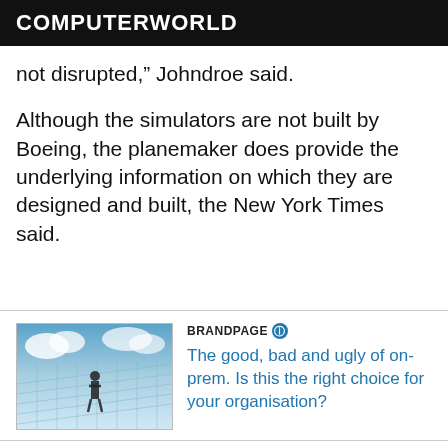COMPUTERWORLD
not disrupted," Johndroe said.
Although the simulators are not built by Boeing, the planemaker does provide the underlying information on which they are designed and built, the New York Times said.
[Figure (photo): Person standing on a grid-like surface with cloudy sky background, representing cloud computing or on-premises infrastructure]
BRANDPAGE ℹ The good, bad and ugly of on-prem. Is this the right choice for your organisation?
More from NEXTDC »
The 737 MAX